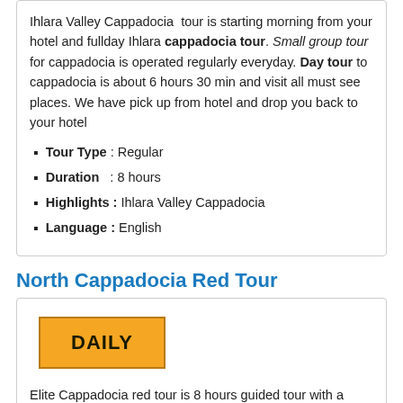Ihlara Valley Cappadocia tour is starting morning from your hotel and fullday Ihlara cappadocia tour. Small group tour for cappadocia is operated regularly everyday. Day tour to cappadocia is about 6 hours 30 min and visit all must see places. We have pick up from hotel and drop you back to your hotel
Tour Type : Regular
Duration : 8 hours
Highlights : Ihlara Valley Cappadocia
Language : English
North Cappadocia Red Tour
[Figure (other): Orange DAILY badge/tab]
Elite Cappadocia red tour is 8 hours guided tour with a small group. Red tour gives you a chance to visit northern cappadocia which is closer region to the goreme city. We have pick up from hotel and drop you back to your hotel. If required we can drop you to Kayseri airport or Nevsehir airport.